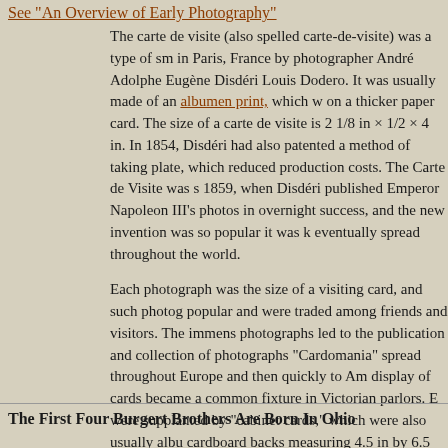See "An Overview of Early Photography"
The carte de visite (also spelled carte-de-visite) was a type of sm... in Paris, France by photographer André Adolphe Eugène Disdéri... Louis Dodero. It was usually made of an albumen print, which w... on a thicker paper card. The size of a carte de visite is 2 1/8 in × 1/2 × 4 in. In 1854, Disdéri had also patented a method of taking... plate, which reduced production costs. The Carte de Visite was s... 1859, when Disdéri published Emperor Napoleon III's photos in... overnight success, and the new invention was so popular it was k... eventually spread throughout the world.
Each photograph was the size of a visiting card, and such photog... popular and were traded among friends and visitors. The immens... photographs led to the publication and collection of photographs... "Cardomania" spread throughout Europe and then quickly to Am... display of cards became a common fixture in Victorian parlors. E... were supplanted by "cabinet cards," which were also usually albu... cardboard backs measuring 4.5 in by 6.5 in. Cabinet cards remai... century, when Kodak introduced the Brownie camera and home s... mass phenomenon.
The First Four Burgert Brothers Are Born In Ohio